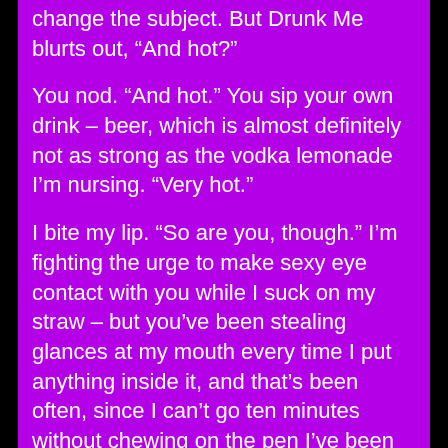change the subject. But Drunk Me blurts out, “And hot?”
You nod. “And hot.” You sip your own drink – beer, which is almost definitely not as strong as the vodka lemonade I’m nursing. “Very hot.”
I bite my lip. “So are you, though.” I’m fighting the urge to make sexy eye contact with you while I suck on my straw – but you’ve been stealing glances at my mouth every time I put anything inside it, and that’s been often, since I can’t go ten minutes without chewing on the pen I’ve been fiddling with